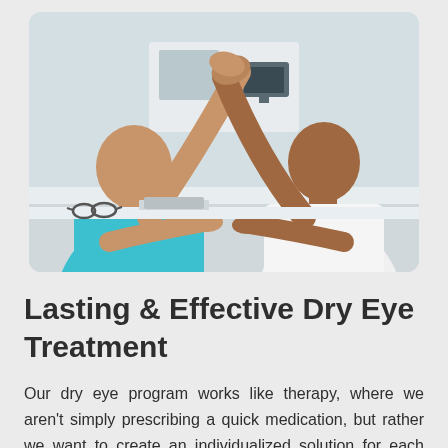[Figure (photo): A healthcare professional in teal scrubs and a patient in a white shirt doing a high-five across a white desk. A clipboard and glasses are on the desk, with a computer monitor in the background.]
Lasting & Effective Dry Eye Treatment
Our dry eye program works like therapy, where we aren't simply prescribing a quick medication, but rather we want to create an individualized solution for each patient. Prior to administering any